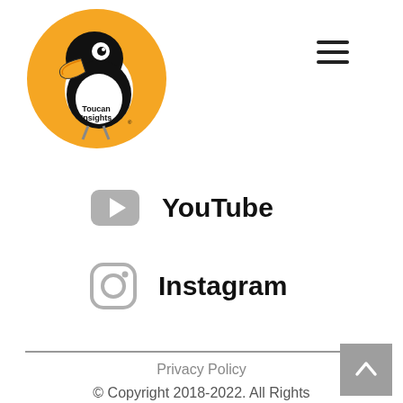[Figure (logo): Toucan Insights logo: orange circle with cartoon toucan bird and text 'Toucan Insights']
[Figure (other): Hamburger menu icon (three horizontal lines)]
YouTube
Instagram
Privacy Policy
© Copyright 2018-2022. All Rights Reserved.